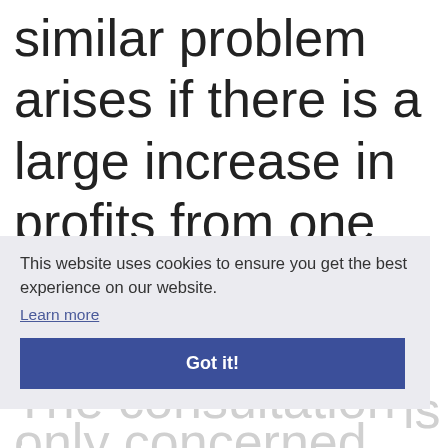similar problem arises if there is a large increase in profits from one year to the next
This website uses cookies to ensure you get the best experience on our website. Learn more Got it!
The consultation is only concerned